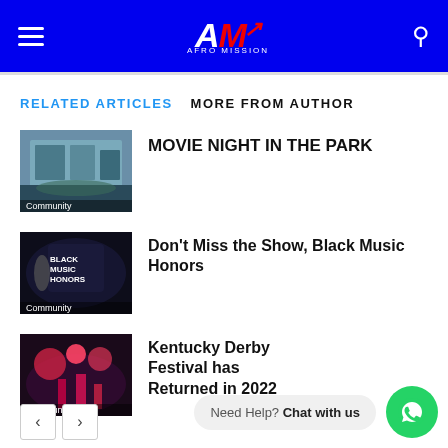AM (logo) — navigation header with hamburger menu and search icon
RELATED ARTICLES   MORE FROM AUTHOR
[Figure (photo): Aerial view of a park with crowd for movie night, labeled Community]
MOVIE NIGHT IN THE PARK
[Figure (photo): Black Music Honors logo with microphone, labeled Community]
Don't Miss the Show, Black Music Honors
[Figure (photo): Kentucky Derby Festival fireworks and lights, labeled Community]
Kentucky Derby Festival has Returned in 2022
Need Help? Chat with us